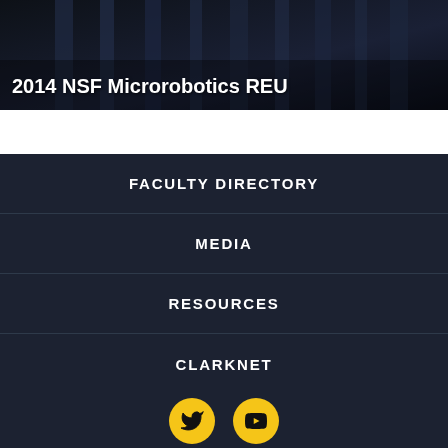[Figure (photo): Dark building/campus photo background with overlaid white bold text reading '2014 NSF Microrobotics REU']
FACULTY DIRECTORY
MEDIA
RESOURCES
CLARKNET
[Figure (other): Two yellow circular social media icon buttons: Twitter bird icon and YouTube play button icon, on dark background]